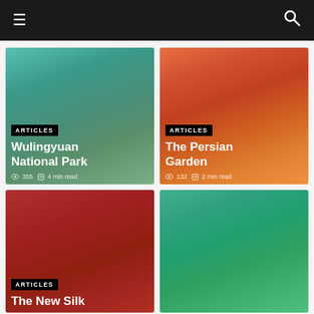Navigation bar with menu and search icons
[Figure (screenshot): Card image for Wulingyuan National Park article with teal/blue-green gradient background]
Wulingyuan National Park
ARTICLES · 355 views · 4 min read
[Figure (screenshot): Card image for The Persian Garden article with orange/red gradient background]
The Persian Garden
ARTICLES · 132 views · 2 min read
[Figure (screenshot): Card image for The New Silk article with dark red gradient background]
The New Silk
ARTICLES
[Figure (screenshot): Card image fourth article with teal/green gradient background]